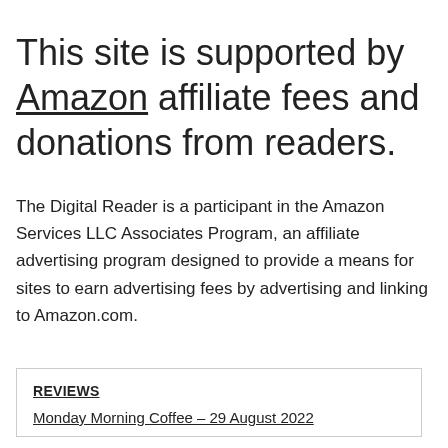This site is supported by Amazon affiliate fees and donations from readers.
The Digital Reader is a participant in the Amazon Services LLC Associates Program, an affiliate advertising program designed to provide a means for sites to earn advertising fees by advertising and linking to Amazon.com.
REVIEWS
Monday Morning Coffee – 29 August 2022